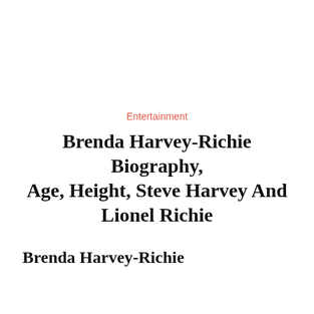Entertainment
Brenda Harvey-Richie Biography, Age, Height, Steve Harvey And Lionel Richie
Brenda Harvey-Richie